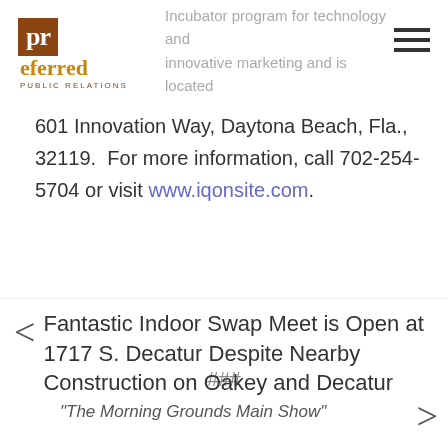[Figure (logo): Preferred Public Relations logo — brown square with white 'pr' text, followed by 'eferred' in gold and 'PUBLIC RELATIONS' in brown small caps]
Incubator program for technology and innovative marketing and is located 601 Innovation Way, Daytona Beach, Fla., 32119. For more information, call 702-254-5704 or visit www.iqonsite.com.
###
< Fantastic Indoor Swap Meet is Open at 1717 S. Decatur Despite Nearby Construction on Oakey and Decatur
"The Morning Grounds Main Show" >